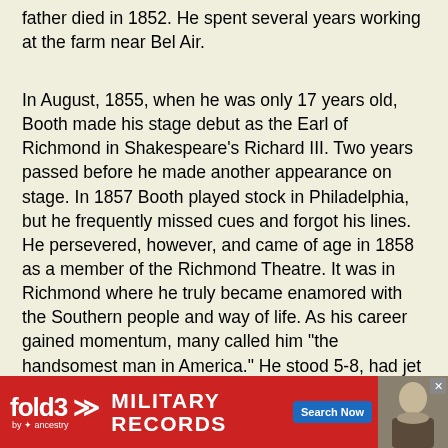father died in 1852. He spent several years working at the farm near Bel Air.
In August, 1855, when he was only 17 years old, Booth made his stage debut as the Earl of Richmond in Shakespeare's Richard III. Two years passed before he made another appearance on stage. In 1857 Booth played stock in Philadelphia, but he frequently missed cues and forgot his lines. He persevered, however, and came of age in 1858 as a member of the Richmond Theatre. It was in Richmond where he truly became enamored with the Southern people and way of life. As his career gained momentum, many called him "the handsomest man in America." He stood 5-8, had jet black hair, ivory skin, and was lean and athletic. He had an easy charm about him that attracted women.
In 1859 Booth was an eyewitness to the execution of John Brown, the abolitionist who had tried to start a slave uprising at Harpers Ferry. Temporarily wearing a militia un... armed m...
[Figure (other): Advertisement banner for Fold3 Military Records by Ancestry with Search Now button and a historical photo]